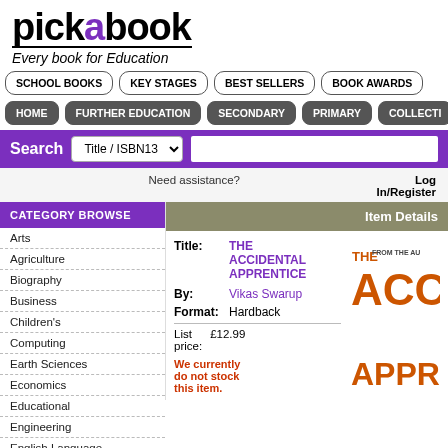[Figure (logo): Pickabook logo with tagline 'Every book for Education']
SCHOOL BOOKS | KEY STAGES | BEST SELLERS | BOOK AWARDS | HOME | FURTHER EDUCATION | SECONDARY | PRIMARY | COLLECTI
Search Title / ISBN13
Need assistance?
Log In/Register
CATEGORY BROWSE
Arts
Agriculture
Biography
Business
Children's
Computing
Earth Sciences
Economics
Educational
Engineering
English Language Teaching (ELT)
Item Details
Title: THE ACCIDENTAL APPRENTICE
By: Vikas Swarup
Format: Hardback
List price: £12.99
We currently do not stock this item.
[Figure (illustration): Partial book cover for The Accidental Apprentice showing orange text]